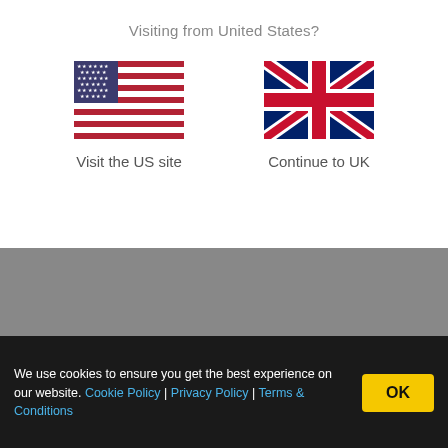Visiting from United States?
[Figure (illustration): US flag SVG]
Visit the US site
[Figure (illustration): UK flag SVG]
Continue to UK
More Like This
We use cookies to ensure you get the best experience on our website. Cookie Policy | Privacy Policy | Terms & Conditions